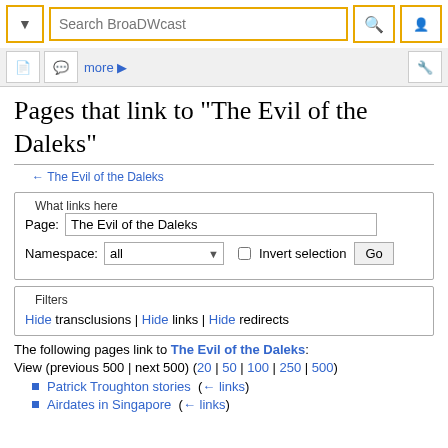Search BroaDWcast
Pages that link to "The Evil of the Daleks"
← The Evil of the Daleks
What links here
Page: The Evil of the Daleks
Namespace: all  Invert selection  Go
Filters
Hide transclusions | Hide links | Hide redirects
The following pages link to The Evil of the Daleks:
View (previous 500 | next 500) (20 | 50 | 100 | 250 | 500)
Patrick Troughton stories  (← links)
Airdates in Singapore  (← links)